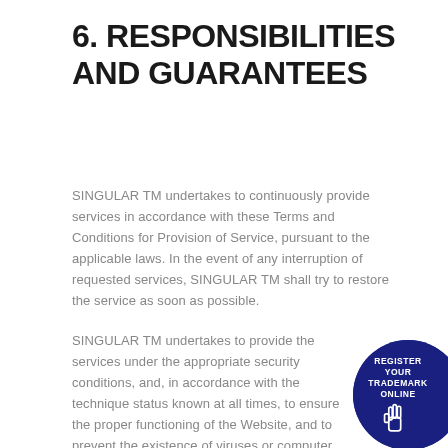6. RESPONSIBILITIES AND GUARANTEES
SINGULAR TM undertakes to continuously provide services in accordance with these Terms and Conditions for Provision of Service, pursuant to the applicable laws. In the event of any interruption of requested services, SINGULAR TM shall try to restore the service as soon as possible.
SINGULAR TM undertakes to provide the services under the appropriate security conditions, and, in accordance with the technique status known at all times, to ensure the proper functioning of the Website, and to prevent the existence of viruses or computer programs that may cause damage to the users. However, computer security is
[Figure (logo): Dark navy blue circular badge with text 'REGISTER YOUR TRADEMARK ONLINE' and a hand cursor icon in white]